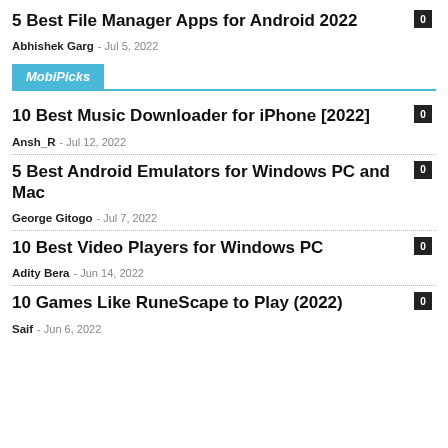5 Best File Manager Apps for Android 2022
Abhishek Garg – Jul 5, 2022
MobiPicks
10 Best Music Downloader for iPhone [2022]
Ansh_R – Jul 12, 2022
5 Best Android Emulators for Windows PC and Mac
George Gitogo – Jul 7, 2022
10 Best Video Players for Windows PC
Adity Bera – Jun 14, 2022
10 Games Like RuneScape to Play (2022)
Saif – Jun 6, 2022